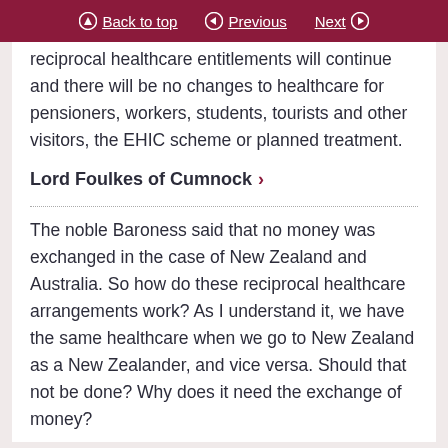Back to top | Previous | Next
reciprocal healthcare entitlements will continue and there will be no changes to healthcare for pensioners, workers, students, tourists and other visitors, the EHIC scheme or planned treatment.
Lord Foulkes of Cumnock
The noble Baroness said that no money was exchanged in the case of New Zealand and Australia. So how do these reciprocal healthcare arrangements work? As I understand it, we have the same healthcare when we go to New Zealand as a New Zealander, and vice versa. Should that not be done? Why does it need the exchange of money?